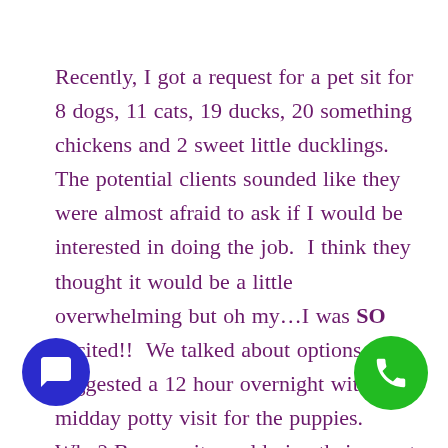Recently, I got a request for a pet sit for 8 dogs, 11 cats, 19 ducks, 20 something chickens and 2 sweet little ducklings.  The potential clients sounded like they were almost afraid to ask if I would be interested in doing the job.  I think they thought it would be a little overwhelming but oh my…I was SO excited!!  We talked about options and I suggested a 12 hour overnight with a midday potty visit for the puppies.  Why? Because it would give their sweet furry and feathery babies the MOST one on one attention!